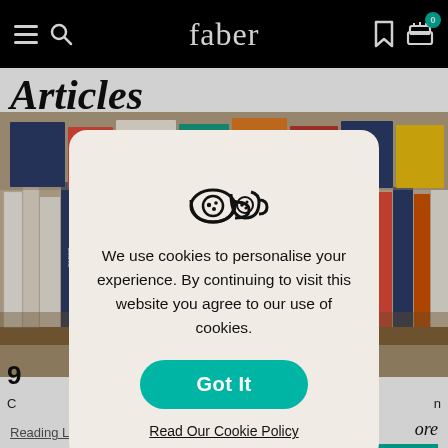faber
Articles
[Figure (photo): Bookshelf filled with colorful Faber books]
[Figure (infographic): Cookie consent modal with tea/cookie cup icon, text 'We use cookies to personalise your experience. By continuing to visit this website you agree to our use of cookies.', a teal 'Got It' button, and a 'Read Our Cookie Policy' link]
We use cookies to personalise your experience. By continuing to visit this website you agree to our use of cookies.
Got It
Read Our Cookie Policy